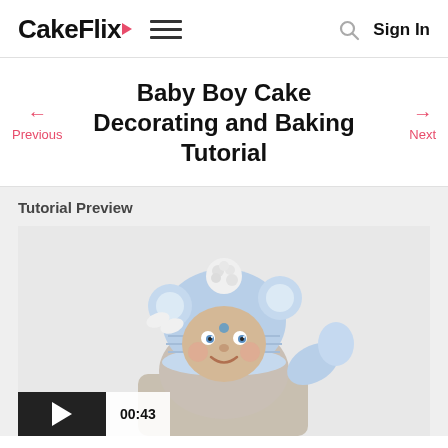CakeFlix  ≡  Sign In
Baby Boy Cake Decorating and Baking Tutorial
Tutorial Preview
[Figure (photo): Video thumbnail showing a baby boy cake figure wearing a blue knit hat with pom-pom and bear ears, with a play button overlay and timestamp 00:43]